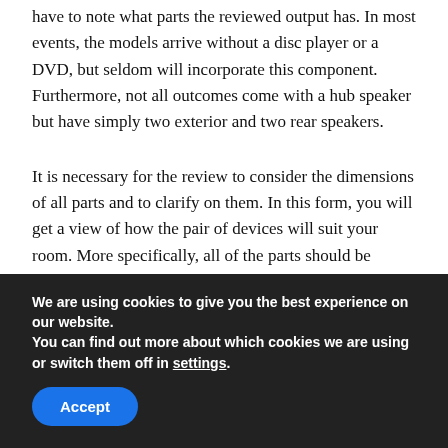have to note what parts the reviewed output has. In most events, the models arrive without a disc player or a DVD, but seldom will incorporate this component. Furthermore, not all outcomes come with a hub speaker but have simply two exterior and two rear speakers.
It is necessary for the review to consider the dimensions of all parts and to clarify on them. In this form, you will get a view of how the pair of devices will suit your room. More specifically, all of the parts should be estimated individually.
We are using cookies to give you the best experience on our website.
You can find out more about which cookies we are using or switch them off in settings.
Accept